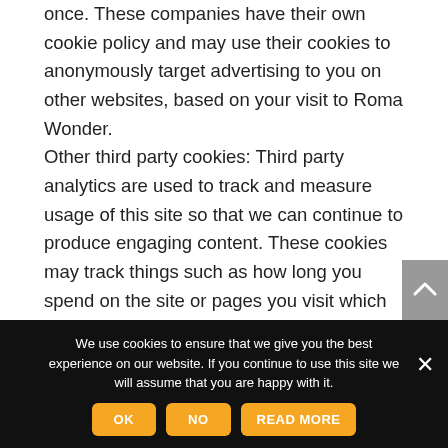once. These companies have their own cookie policy and may use their cookies to anonymously target advertising to you on other websites, based on your visit to Roma Wonder. Other third party cookies: Third party analytics are used to track and measure usage of this site so that we can continue to produce engaging content. These cookies may track things such as how long you spend on the site or pages you visit which helps us to understand how we can improve the site
We use cookies to ensure that we give you the best experience on our website. If you continue to use this site we will assume that you are happy with it.